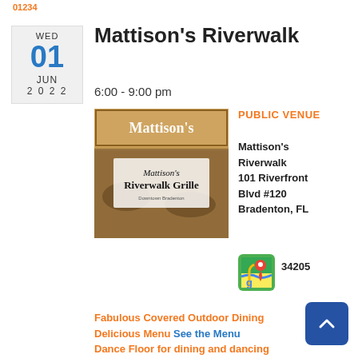01234
Mattison's Riverwalk
6:00 - 9:00 pm
[Figure (photo): Photo of Mattison's Riverwalk Grille exterior with signage, Downtown Bradenton]
PUBLIC VENUE
Mattison's Riverwalk
101 Riverfront Blvd #120
Bradenton, FL
34205
[Figure (logo): Google Maps icon with red location pin]
Fabulous Covered Outdoor Dining
Delicious Menu See the Menu
Dance Floor for dining and dancing